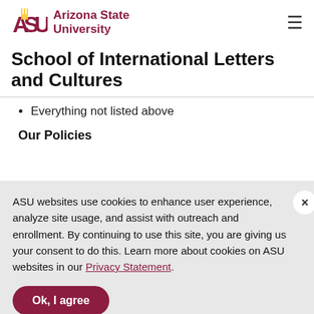ASU Arizona State University
School of International Letters and Cultures
Everything not listed above
Our Policies
ASU websites use cookies to enhance user experience, analyze site usage, and assist with outreach and enrollment. By continuing to use this site, you are giving us your consent to do this. Learn more about cookies on ASU websites in our Privacy Statement.
once reservations are made. Unfortunately, we are not aware of these surcharges until the time